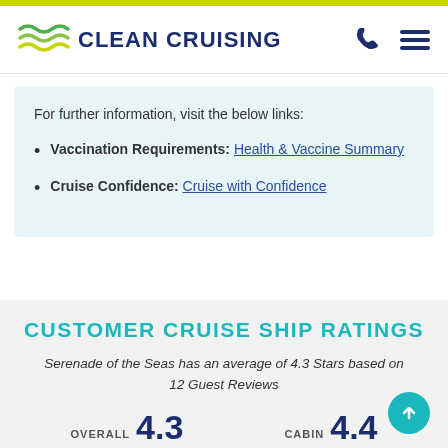CLEAN CRUISING
For further information, visit the below links:
Vaccination Requirements: Health & Vaccine Summary
Cruise Confidence: Cruise with Confidence
CUSTOMER CRUISE SHIP RATINGS
Serenade of the Seas has an average of 4.3 Stars based on 12 Guest Reviews
OVERALL 4.3    CABIN 4.4